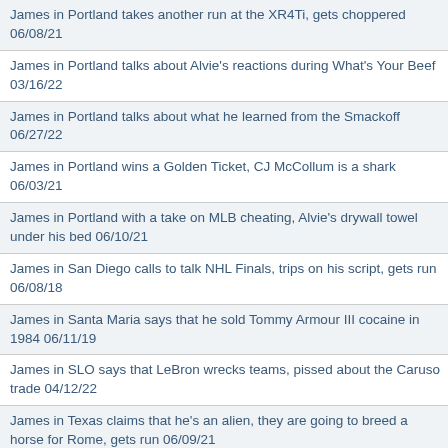James in Portland takes another run at the XR4Ti, gets choppered 06/08/21
James in Portland talks about Alvie's reactions during What's Your Beef 03/16/22
James in Portland talks about what he learned from the Smackoff 06/27/22
James in Portland wins a Golden Ticket, CJ McCollum is a shark 06/03/21
James in Portland with a take on MLB cheating, Alvie's drywall towel under his bed 06/10/21
James in San Diego calls to talk NHL Finals, trips on his script, gets run 06/08/18
James in Santa Maria says that he sold Tommy Armour III cocaine in 1984 06/11/19
James in SLO says that LeBron wrecks teams, pissed about the Caruso trade 04/12/22
James in Texas claims that he's an alien, they are going to breed a horse for Rome, gets run 06/09/21
James in the Bay takes a run at Dan in Denver, gets run 06/07/17
James in Tucson announces a Smackoff watch party at the Tap & Bottle 06/23/21
James Kelley breaks down UFC 249 05/08/20
James Kelley calls to discuss NFL draft prop bets 04/23/20
Jamie in Santa Barbara tells a story about being a high school basketball referee 02/28/19
Jared in ABQ doesn't like his neighbors borrowing his tools, gets run 04/29/21